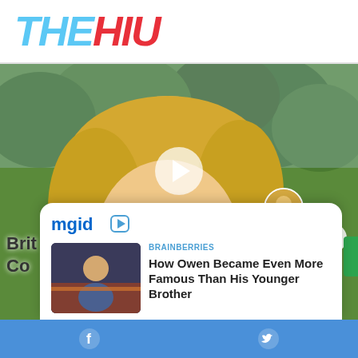THEHIU
[Figure (photo): Woman with blonde hair outdoors, green trees in background, with video play button overlay and mgid ad widget]
[Figure (logo): mgid logo with play icon]
BRAINBERRIES
How Owen Became Even More Famous Than His Younger Brother
Facebook and Twitter share buttons